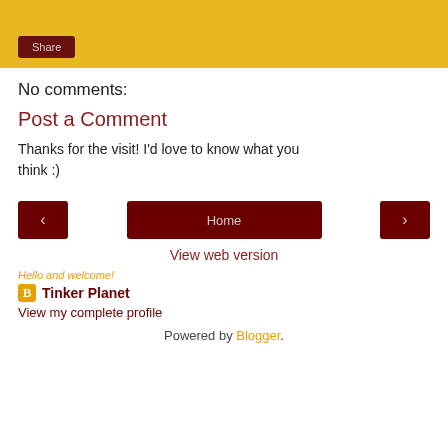[Figure (other): Yellow banner bar with a dark red Share button]
No comments:
Post a Comment
Thanks for the visit! I'd love to know what you think :)
[Figure (other): Navigation row with left arrow button, Home button, and right arrow button]
View web version
Hello and welcome!
Tinker Planet
View my complete profile
Powered by Blogger.